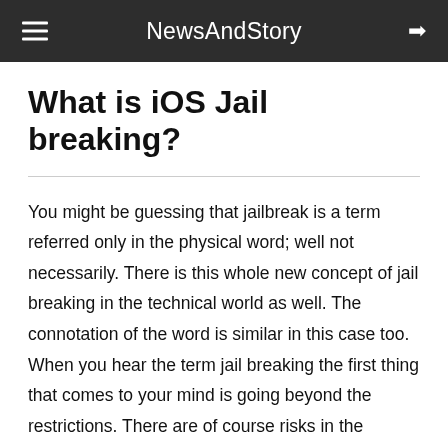NewsAndStory
What is iOS Jail breaking?
You might be guessing that jailbreak is a term referred only in the physical word; well not necessarily. There is this whole new concept of jail breaking in the technical world as well. The connotation of the word is similar in this case too. When you hear the term jail breaking the first thing that comes to your mind is going beyond the restrictions. There are of course risks in the process, but the outcome you get is